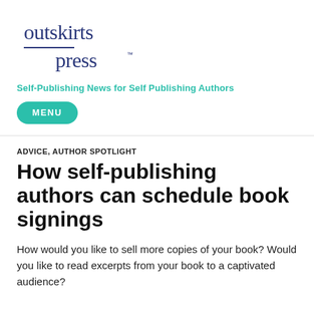[Figure (logo): Outskirts Press logo in dark navy/blue serif font with a horizontal line between 'outskirts' and 'press']
Self-Publishing News for Self Publishing Authors
MENU
ADVICE, AUTHOR SPOTLIGHT
How self-publishing authors can schedule book signings
How would you like to sell more copies of your book? Would you like to read excerpts from your book to a captivated audience?